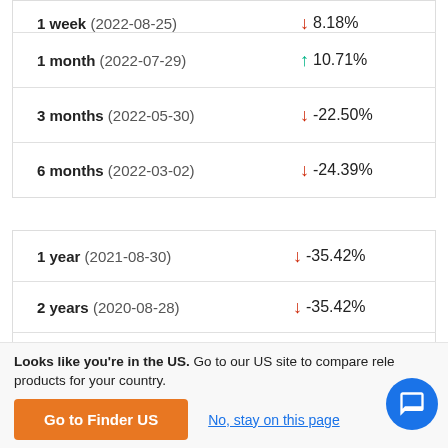| Period | Change |
| --- | --- |
| 1 week (2022-08-25) | ▼ 8.18% |
| 1 month (2022-07-29) | ▲ 10.71% |
| 3 months (2022-05-30) | ▼ -22.50% |
| 6 months (2022-03-02) | ▼ -24.39% |
| Period | Change |
| --- | --- |
| 1 year (2021-08-30) | ▼ -35.42% |
| 2 years (2020-08-28) | ▼ -35.42% |
| 3 years (2019-08-30) | ▼ -55.71% |
Looks like you're in the US. Go to our US site to compare relevant products for your country.
Go to Finder US
No, stay on this page